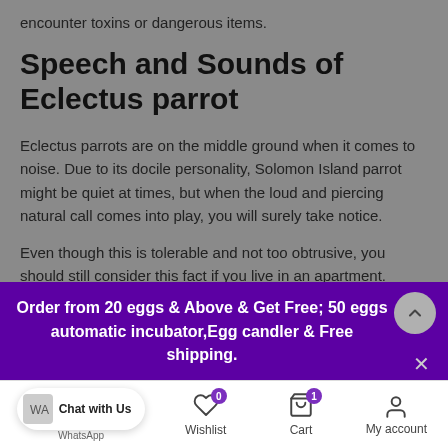encounter toxins or dangerous items.
Speech and Sounds of Eclectus parrot
Eclectus parrots are on the middle ground when it comes to noise. Due to its docile personality, Solomon Island parrot might be quiet at times, but when the loud and piercing natural call comes into play, you will surely take notice.
Even though this is tolerable and not too obtrusive, you should still consider this fact if you live in an apartment. Solomon Island parrots is not a born talker, but with a bit of patient training they will pick up a few words to repeat. They can also become good
Order from 20 eggs & Above & Get Free; 50 eggs automatic incubator,Egg candler & Free shipping.
Chat with Us  WhatsApp   Wishlist 0   Cart 1   My account